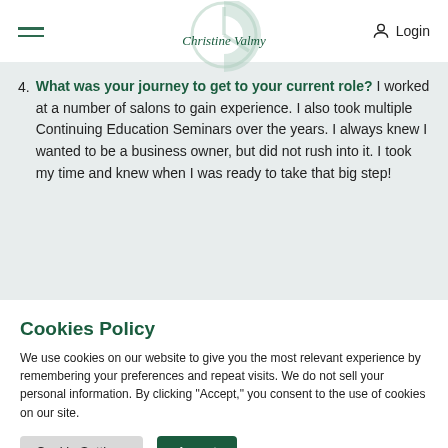Christine Valmy | Login
4. What was your journey to get to your current role? I worked at a number of salons to gain experience. I also took multiple Continuing Education Seminars over the years. I always knew I wanted to be a business owner, but did not rush into it. I took my time and knew when I was ready to take that big step!
Cookies Policy
We use cookies on our website to give you the most relevant experience by remembering your preferences and repeat visits. We do not sell your personal information. By clicking "Accept," you consent to the use of cookies on our site.
Cookie Settings | Accept